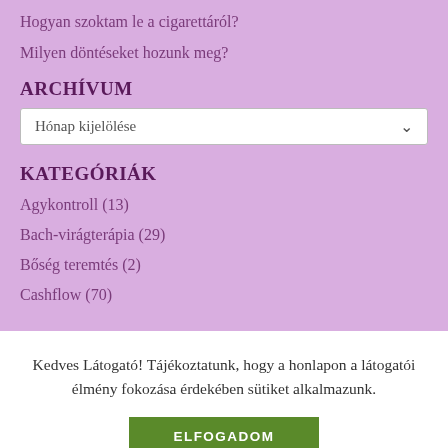Hogyan szoktam le a cigarettáról?
Milyen döntéseket hozunk meg?
ARCHÍVUM
[Figure (other): Dropdown selector labeled 'Hónap kijelölése']
KATEGÓRIÁK
Agykontroll (13)
Bach-virágterápia (29)
Bőség teremtés (2)
Cashflow (70)
Kedves Látogató! Tájékoztatunk, hogy a honlapon a látogatói élmény fokozása érdekében sütiket alkalmazunk.
ELFOGADOM